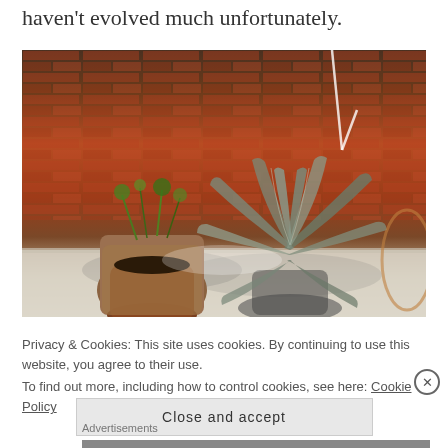haven't evolved much unfortunately.
[Figure (photo): Two potted plants on a white surface against a weathered red brick wall. Left plant is a small green succulent/herb in a clay pot wrapped in burlap. Right plant is a large dramatic air plant (Tillandsia) with long silvery-green radiating leaves. Background shows peeling red brick.]
Privacy & Cookies: This site uses cookies. By continuing to use this website, you agree to their use.
To find out more, including how to control cookies, see here: Cookie Policy
Close and accept
Advertisements